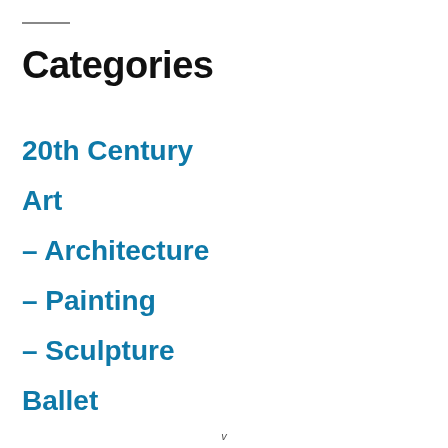Categories
20th Century
Art
– Architecture
– Painting
– Sculpture
Ballet
v